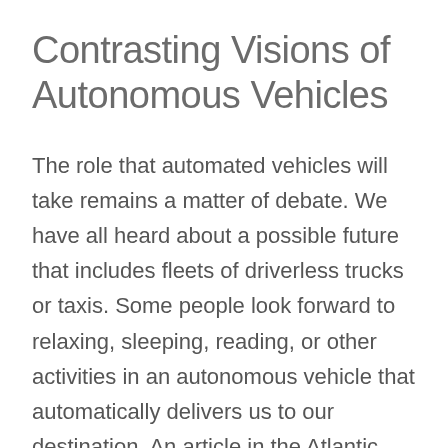Contrasting Visions of Autonomous Vehicles
The role that automated vehicles will take remains a matter of debate. We have all heard about a possible future that includes fleets of driverless trucks or taxis. Some people look forward to relaxing, sleeping, reading, or other activities in an autonomous vehicle that automatically delivers us to our destination. An article in the Atlantic predicts a time when car rides across town might be free — so long as the rider makes a stop at one of the taxi's